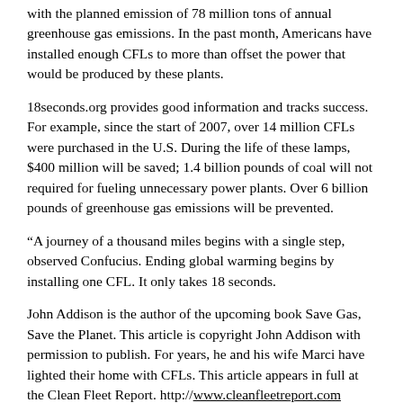with the planned emission of 78 million tons of annual greenhouse gas emissions. In the past month, Americans have installed enough CFLs to more than offset the power that would be produced by these plants.
18seconds.org provides good information and tracks success. For example, since the start of 2007, over 14 million CFLs were purchased in the U.S. During the life of these lamps, $400 million will be saved; 1.4 billion pounds of coal will not required for fueling unnecessary power plants. Over 6 billion pounds of greenhouse gas emissions will be prevented.
“A journey of a thousand miles begins with a single step, observed Confucius. Ending global warming begins by installing one CFL. It only takes 18 seconds.
John Addison is the author of the upcoming book Save Gas, Save the Planet. This article is copyright John Addison with permission to publish. For years, he and his wife Marci have lighted their home with CFLs. This article appears in full at the Clean Fleet Report. http://www.cleanfleetreport.com
Content provided by, and all rights reserved to,